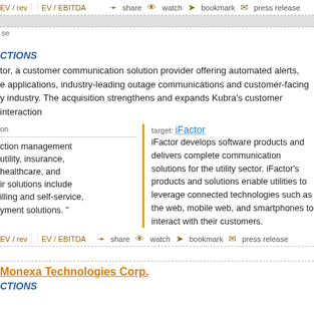EV / rev  EV / EBITDA  share  watch  bookmark  press release
se
CTIONS
tor, a customer communication solution provider offering automated alerts, e applications, industry-leading outage communications and customer-facing y industry. The acquisition strengthens and expands Kubra's customer interaction
on  |  iFactor
iFactor develops software products and delivers complete communication solutions for the utility sector. iFactor's products and solutions enable utilities to leverage connected technologies such as the web, mobile web, and smartphones to interact with their customers.
ction management utility, insurance, healthcare, and ir solutions include illing and self-service, yment solutions."
EV / rev  EV / EBITDA  share  watch  bookmark  press release
Monexa Technologies Corp.
CTIONS